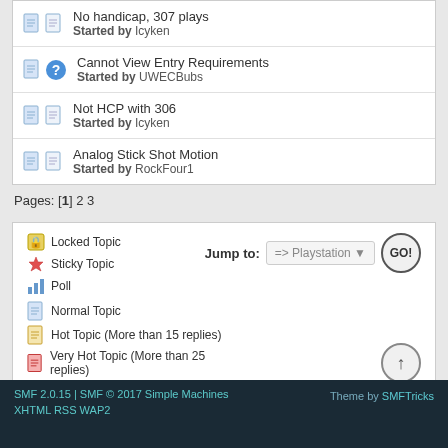No handicap, 307 plays
Started by Icyken
Cannot View Entry Requirements
Started by UWECBubs
Not HCP with 306
Started by Icyken
Analog Stick Shot Motion
Started by RockFour1
Pages: [1] 2 3
Locked Topic
Sticky Topic
Poll
Normal Topic
Hot Topic (More than 15 replies)
Very Hot Topic (More than 25 replies)
Jump to: => Playstation GO!
SMF 2.0.15 | SMF © 2017 Simple Machines XHTML RSS WAP2
Theme by SMFTricks